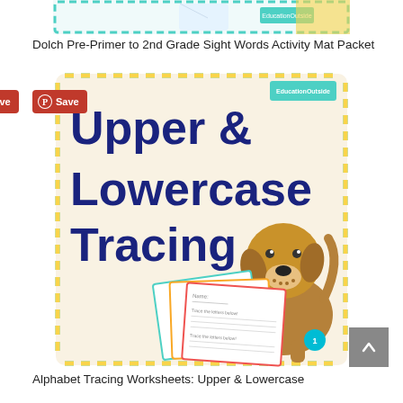[Figure (screenshot): Partial top of a product thumbnail showing teal and yellow border, white background with EducationOutside logo]
Dolch Pre-Primer to 2nd Grade Sight Words Activity Mat Packet
[Figure (illustration): Upper & Lowercase Tracing worksheet product cover with teal/yellow dashed border, dark navy bold text reading 'Upper & Lowercase Tracing', cartoon brown dog, sample worksheet pages fanned out, EducationOutside logo, Save Pinterest button, cart button with 1 item]
Alphabet Tracing Worksheets: Upper & Lowercase